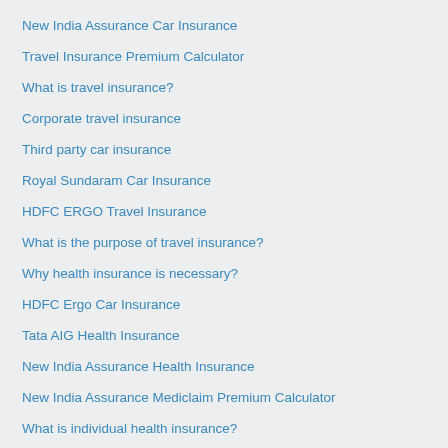New India Assurance Car Insurance
Travel Insurance Premium Calculator
What is travel insurance?
Corporate travel insurance
Third party car insurance
Royal Sundaram Car Insurance
HDFC ERGO Travel Insurance
What is the purpose of travel insurance?
Why health insurance is necessary?
HDFC Ergo Car Insurance
Tata AIG Health Insurance
New India Assurance Health Insurance
New India Assurance Mediclaim Premium Calculator
What is individual health insurance?